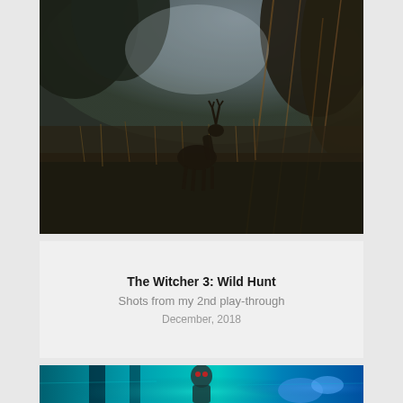[Figure (photo): A deer standing in a dense forest with tall grass and trees, rendered in a dark, atmospheric style from The Witcher 3: Wild Hunt video game. Warm amber and cool grey tones.]
The Witcher 3: Wild Hunt
Shots from my 2nd play-through
December, 2018
[Figure (photo): A partially visible scene with teal/cyan glowing lights and a masked figure visible at the bottom, from The Witcher 3: Wild Hunt video game.]